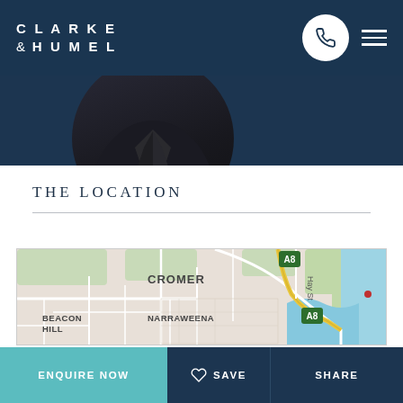CLARKE & HUMEL
[Figure (photo): Partial photo of a person in dark clothing, cropped at bottom — likely an agent portrait]
THE LOCATION
[Figure (map): Street map showing Cromer, Beacon Hill, and Narraweena suburbs in Sydney, Australia, with A8 highway markers and Hay St labeled, coastal waterway visible on right side]
ENQUIRE NOW
SAVE
SHARE